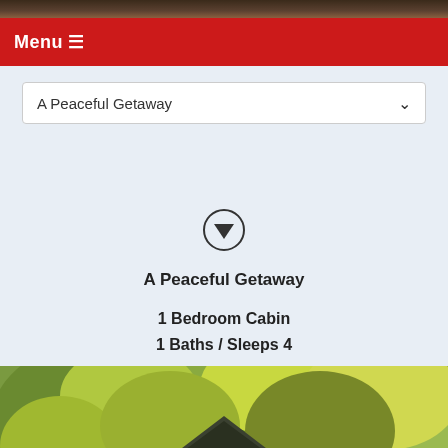[Figure (photo): Top strip showing dark forest/cabin photo partially visible at very top]
Menu ☰
A Peaceful Getaway
Search | Favorites
A Peaceful Getaway
1 Bedroom Cabin
1 Baths / Sleeps 4
[Figure (photo): Photo of a wooden cabin surrounded by autumn trees with green and yellow foliage, partial view of dark roof peak visible]